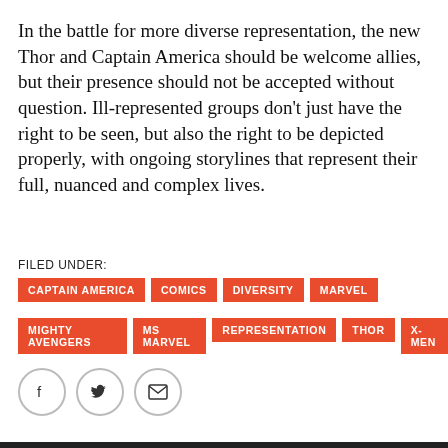In the battle for more diverse representation, the new Thor and Captain America should be welcome allies, but their presence should not be accepted without question. Ill-represented groups don't just have the right to be seen, but also the right to be depicted properly, with ongoing storylines that represent their full, nuanced and complex lives.
FILED UNDER:
CAPTAIN AMERICA
COMICS
DIVERSITY
MARVEL
MIGHTY AVENGERS
MS MARVEL
REPRESENTATION
THOR
X-MEN
[Figure (other): Social share buttons: Facebook, Twitter, Email]